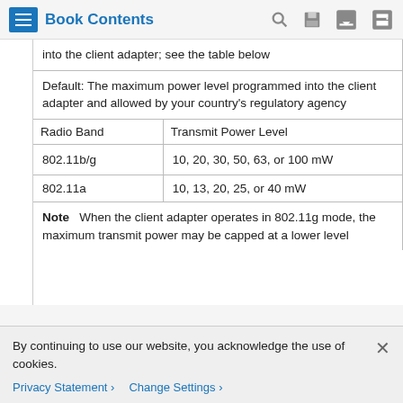Book Contents
| Radio Band | Transmit Power Level |
| --- | --- |
| 802.11b/g | 10, 20, 30, 50, 63, or 100 mW |
| 802.11a | 10, 13, 20, 25, or 40 mW |
into the client adapter; see the table below
Default: The maximum power level programmed into the client adapter and allowed by your country's regulatory agency
Note   When the client adapter operates in 802.11g mode, the maximum transmit power may be capped at a lower level
By continuing to use our website, you acknowledge the use of cookies.
Privacy Statement >   Change Settings >